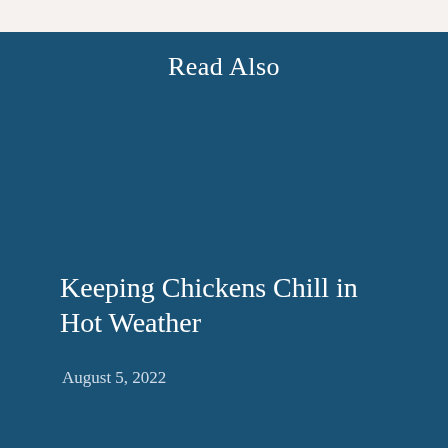Read Also
Keeping Chickens Chill in Hot Weather
August 5, 2022